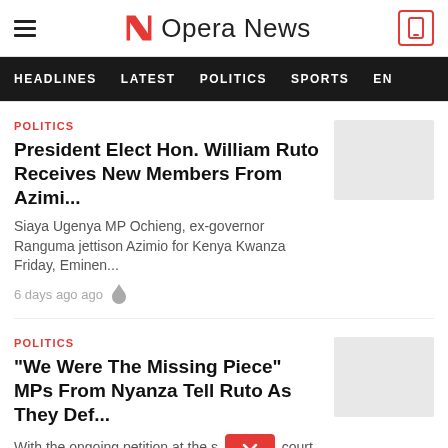Opera News
HEADLINES  LATEST  POLITICS  SPORTS  EN
POLITICS
President Elect Hon. William Ruto Receives New Members From Azimi...
Siaya Ugenya MP Ochieng, ex-governor Ranguma jettison Azimio for Kenya Kwanza Friday, Eminen...
6 days ago ago
POLITICS
"We Were The Missing Piece" MPs From Nyanza Tell Ruto As They Def...
With the ongoing petition at the s court of